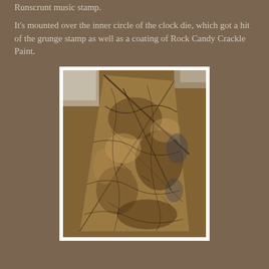Runscrunt music stamp.
It's mounted over the inner circle of the clock die, which got a hit of the grunge stamp as well as a coating of Rock Candy Crackle Paint.
[Figure (photo): A textured, crackled surface piece resembling an aged stone or paper artifact with dark crinkle patterns in brown and dark grey tones, photographed on a light surface.]